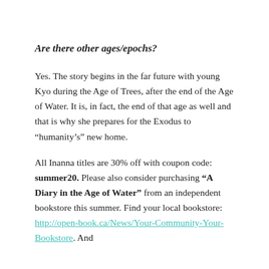Are there other ages/epochs?
Yes. The story begins in the far future with young Kyo during the Age of Trees, after the end of the Age of Water. It is, in fact, the end of that age as well and that is why she prepares for the Exodus to “humanity’s” new home.
All Inanna titles are 30% off with coupon code: summer20. Please also consider purchasing “A Diary in the Age of Water” from an independent bookstore this summer. Find your local bookstore: http://open-book.ca/News/Your-Community-Your-Bookstore. And